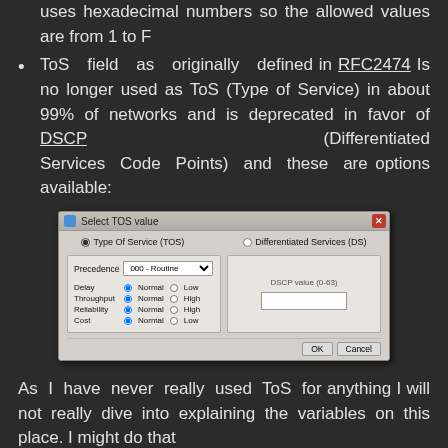uses hexadecimal numbers so the allowed values are from 1 to F
ToS field as originally defined in RFC2474 Is no longer used as ToS (Type of Service) in about 99% of networks and is deprecated in favor of DSCP (Differentiated Services Code Points) and these are options available:
[Figure (screenshot): Dialog box titled 'Select TOS value' with two tabs: 'Type Of Service (TOS)' (selected) and 'Differentiated Services (DS)'. Left panel shows Precedence dropdown set to '000 - Routine', and radio button rows for Delay (Normal/Low), Throughput (Normal/High), Reliability (Normal/High), Cost (Normal/Low), all set to Normal. Right panel shows a disabled DSCP value input field labeled 'DSCP value (0-63)'. Footer has OK and Cancel buttons.]
As I have never really used ToS for anything I will not really dive into explaining the variables on this place. I might do that